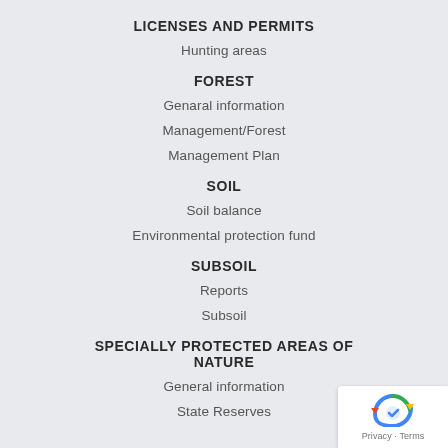LICENSES AND PERMITS
Hunting areas
FOREST
Genaral information
Management/Forest
Management Plan
SOIL
Soil balance
Environmental protection fund
SUBSOIL
Reports
Subsoil
SPECIALLY PROTECTED AREAS OF NATURE
General information
State Reserves